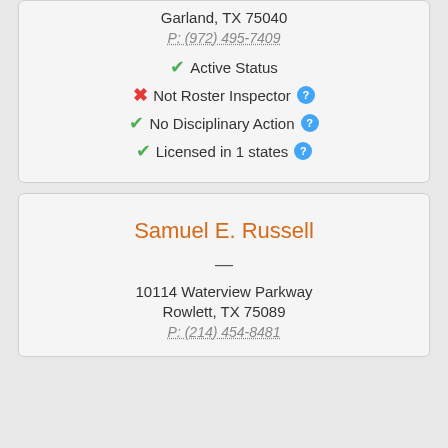Garland, TX 75040
P: (972) 495-7409
✔ Active Status
✘ Not Roster Inspector
✔ No Disciplinary Action
✔ Licensed in 1 states
Samuel E. Russell
—
10114 Waterview Parkway
Rowlett, TX 75089
P: (214) 454-8481